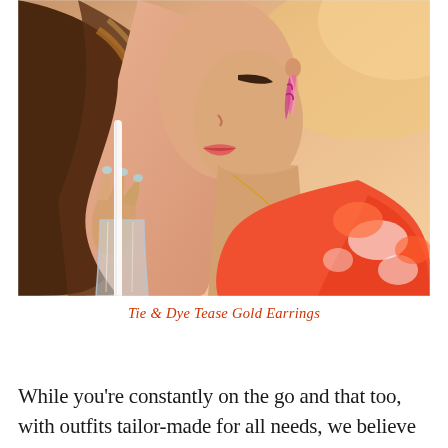[Figure (photo): A young woman wearing pink tie-dye earrings and a gold necklace with a pendant, sipping from a straw in a glass, wearing a colorful tie-dye top. Sunlit outdoor setting.]
Tie & Dye Tease Gold Earrings
While you're constantly on the go and that too, with outfits tailor-made for all needs, we believe that your